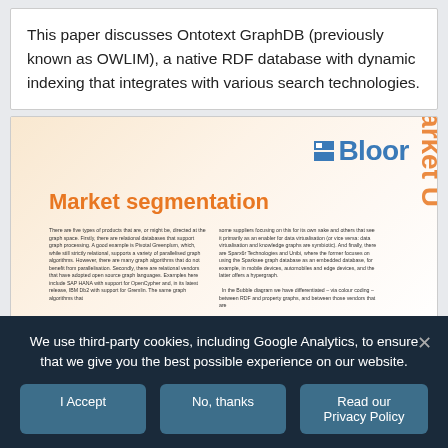This paper discusses Ontotext GraphDB (previously known as OWLIM), a native RDF database with dynamic indexing that integrates with various search technologies.
[Figure (screenshot): Screenshot of a Bloor Research document page showing 'Market segmentation' section with two-column body text and orange rotated sidebar text reading 'Market U...' on the right side. The Bloor logo appears in the top-right of the document.]
We use third-party cookies, including Google Analytics, to ensure that we give you the best possible experience on our website.
I Accept  No, thanks  Read our Privacy Policy